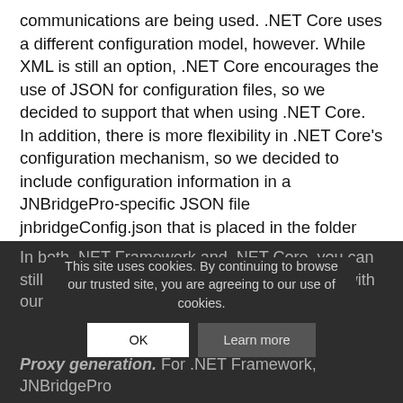communications are being used. .NET Core uses a different configuration model, however. While XML is still an option, .NET Core encourages the use of JSON for configuration files, so we decided to support that when using .NET Core. In addition, there is more flexibility in .NET Core's configuration mechanism, so we decided to include configuration information in a JNBridgePro-specific JSON file jnbridgeConfig.json that is placed in the folder with the application and jnbshare.dll. The structure of the JSON file is similar to the structure of XML-based JNBridgePro configuration in the .NET Framework-targeted JNBridgePro, so the JSON configuration files should look familiar.
In both .NET Framework and .NET Core, you can still configure JNBridgePro programmatically, with our configuration A...
This site uses cookies. By continuing to browse our trusted site, you are agreeing to our use of cookies.
Proxy generation. For .NET Framework, JNBridgePro